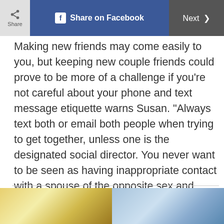Share | Share on Facebook | Next >
Making new friends may come easily to you, but keeping new couple friends could prove to be more of a challenge if you’re not careful about your phone and text message etiquette warns Susan. “Always text both or email both people when trying to get together, unless one is the designated social director. You never want to be seen as having inappropriate contact with a spouse of the opposite sex and create suspicion or jealousy.”
[Figure (photo): Two partial photos side by side at the bottom of the page, blurred/cropped. Left image appears warm-toned (gold/yellow), right image appears cool-toned (blue/grey), suggesting relationship or couple-themed imagery.]